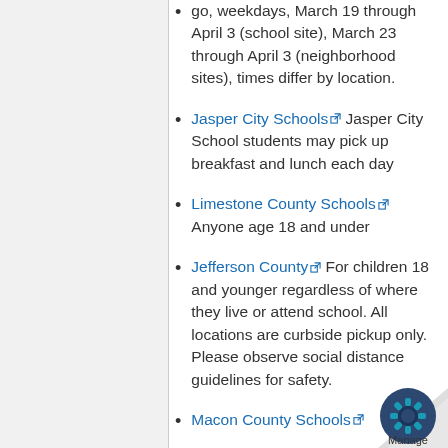go, weekdays, March 19 through April 3 (school site), March 23 through April 3 (neighborhood sites), times differ by location.
Jasper City Schools [link] Jasper City School students may pick up breakfast and lunch each day
Limestone County Schools [link] Anyone age 18 and under
Jefferson County [link] For children 18 and younger regardless of where they live or attend school. All locations are curbside pickup only. Please observe social distance guidelines for safety.
Macon County Schools [link]
Mobile County Schools [link] A... age 18 or under can recei...
MONTGOMERY'S FOO...